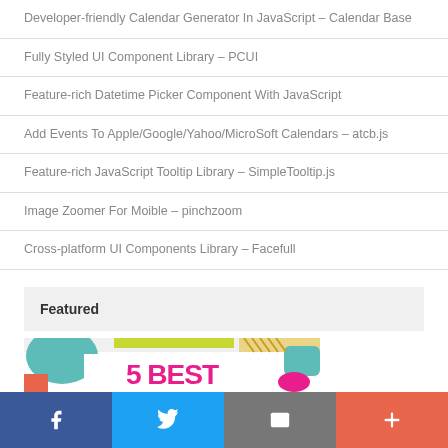Developer-friendly Calendar Generator In JavaScript – Calendar Base
Fully Styled UI Component Library – PCUI
Feature-rich Datetime Picker Component With JavaScript
Add Events To Apple/Google/Yahoo/MicroSoft Calendars – atcb.js
Feature-rich JavaScript Tooltip Library – SimpleTooltip.js
Image Zoomer For Moible – pinchzoom
Cross-platform UI Components Library – Facefull
Featured
[Figure (illustration): Colorful featured banner showing '5 BEST' text in pink/magenta on white background with teal, lime green, and coral accent shapes and diagonal stripe patterns]
Social share bar with Facebook, Twitter, Email, and More buttons